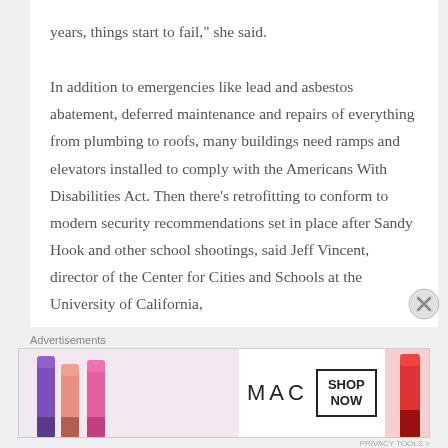In addition to emergencies like lead and asbestos abatement, deferred maintenance and repairs of everything from plumbing to roofs, many buildings need ramps and elevators installed to comply with the Americans With Disabilities Act. Then there's retrofitting to conform to modern security recommendations set in place after Sandy Hook and other school shootings, said Jeff Vincent, director of the Center for Cities and Schools at the University of California,
[Figure (illustration): MAC cosmetics advertisement banner featuring lipsticks in purple, peach, and pink on the left, the MAC logo in the center, a SHOP NOW box, and a red lipstick on the right.]
Advertisements